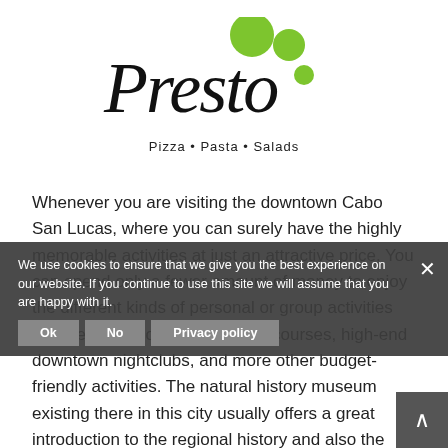[Figure (logo): Presto Pizza Pasta Salads logo with green circles and italic script text]
Whenever you are visiting the downtown Cabo San Lucas, where you can surely have the highly memorable activities at just an attractive price. You can spend only a fewer amount of money to enjoy the different kinds of personal or group activities like the championship level golf courses, high-end downtown nightclubs, and more other budget-friendly activities. The natural history museum existing there in this city usually offers a great introduction to the regional history and also the visual representation of the incredible natural biodiversity and the traditional
We use cookies to ensure that we give you the best experience on our website. If you continue to use this site we will assume that you are happy with it.